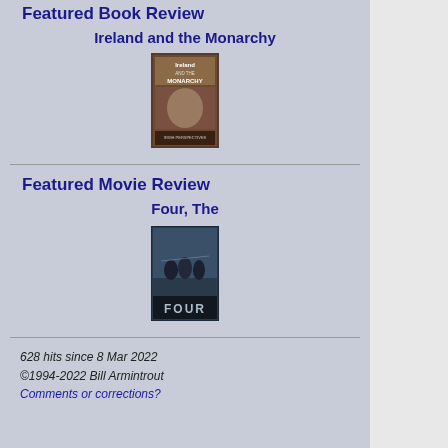Featured Book Review
Ireland and the Monarchy
[Figure (photo): Book cover for 'Ireland and the Monarchy' - shows text title with historical scene imagery and 'Irish Perspectives' subtitle]
Featured Movie Review
Four, The
[Figure (photo): Movie poster for 'Four, The' - shows action/thriller style with figures and the word FOUR prominently displayed]
628 hits since 8 Mar 2022
©1994-2022 Bill Armintrout
Comments or corrections?